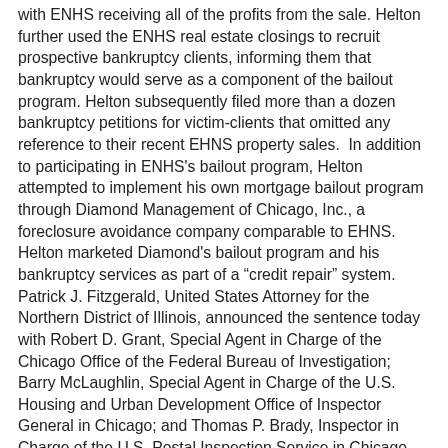with ENHS receiving all of the profits from the sale. Helton further used the ENHS real estate closings to recruit prospective bankruptcy clients, informing them that bankruptcy would serve as a component of the bailout program. Helton subsequently filed more than a dozen bankruptcy petitions for victim-clients that omitted any reference to their recent EHNS property sales.  In addition to participating in ENHS's bailout program, Helton attempted to implement his own mortgage bailout program through Diamond Management of Chicago, Inc., a foreclosure avoidance company comparable to EHNS. Helton marketed Diamond's bailout program and his bankruptcy services as part of a “credit repair” system.  Patrick J. Fitzgerald, United States Attorney for the Northern District of Illinois, announced the sentence today with Robert D. Grant, Special Agent in Charge of the Chicago Office of the Federal Bureau of Investigation; Barry McLaughlin, Special Agent in Charge of the U.S. Housing and Urban Development Office of Inspector General in Chicago; and Thomas P. Brady, Inspector in Charge of the U.S. Postal Inspection Service in Chicago. The U.S. Trustee Program, a Justice Department component that oversees administration of bankruptcy cases also assisted and participated in the investigation. The